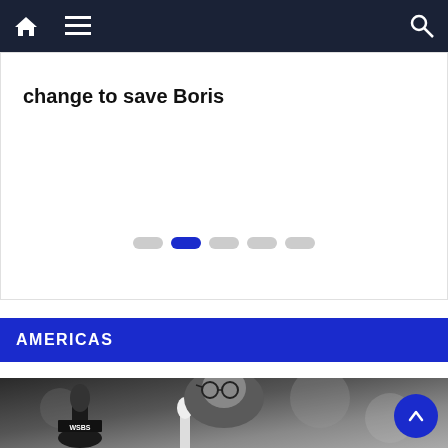Navigation bar with home, menu, and search icons
change to save Boris
AMERICAS
[Figure (photo): Black and white historical photograph of a woman wearing round glasses speaking at a bank of microphones including one labeled WSBS, outdoors with blurred foliage background]